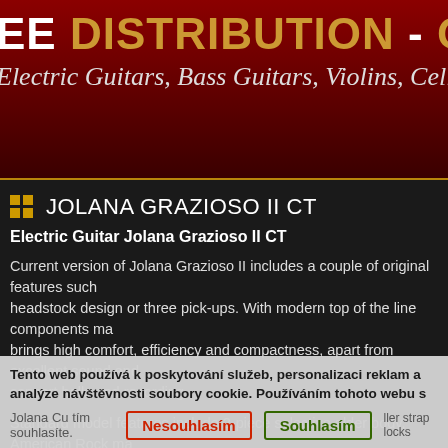EE DISTRIBUTION - Online Catalog
Electric Guitars, Bass Guitars, Violins, Cellos, Double Basses...
JOLANA GRAZIOSO II CT
Electric Guitar Jolana Grazioso II CT
Current version of Jolana Grazioso II includes a couple of original features such as headstock design or three pick-ups. With modern top of the line components makes brings high comfort, efficiency and compactness, apart from excellent sound and concert halls and recording.
Standard model features include 2-piece selective alder body, American Rock maple fingerboards with 22 frets medium jumbo, scale 628 mm (24,75").
Tento web používá k poskytování služeb, personalizaci reklam a analýze návštěvnosti soubory cookie. Používáním tohoto webu s tím souhlasíte. Nesouhlasím Souhlasím